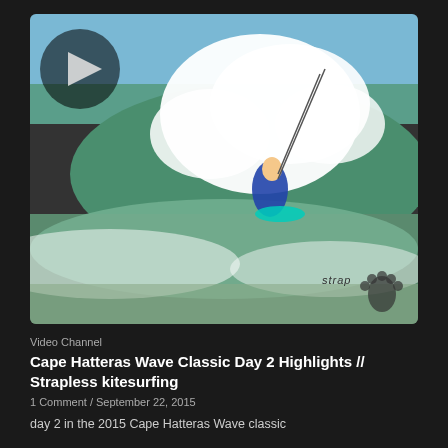[Figure (photo): A kitesurfer performing a strapless maneuver on a wave at Cape Hatteras. Large splash of white water surrounds the surfer. The sky is blue and the ocean is green. A play button overlay is visible in the top-left corner. A footprint logo with the text 'strap' is visible in the bottom-right corner.]
Video Channel
Cape Hatteras Wave Classic Day 2 Highlights // Strapless kitesurfing
1 Comment / September 22, 2015
day 2 in the 2015 Cape Hatteras Wave classic